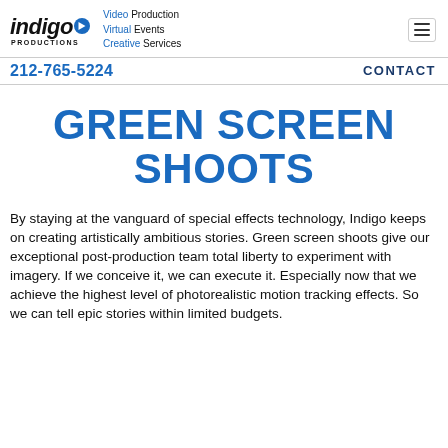indigo PRODUCTIONS | Video Production Virtual Events Creative Services
212-765-5224 | CONTACT
GREEN SCREEN SHOOTS
By staying at the vanguard of special effects technology, Indigo keeps on creating artistically ambitious stories. Green screen shoots give our exceptional post-production team total liberty to experiment with imagery. If we conceive it, we can execute it. Especially now that we achieve the highest level of photorealistic motion tracking effects. So we can tell epic stories within limited budgets.